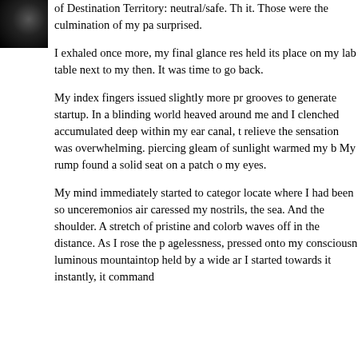[Figure (photo): Black and white photo of a person or figure in upper left corner]
of Destination Territory: neutral/safe. Th it. Those were the culmination of my pa surprised.
I exhaled once more, my final glance res held its place on my lab table next to my then. It was time to go back.
My index fingers issued slightly more pr grooves to generate startup. In a blinding world heaved around me and I clenched accumulated deep within my ear canal, t relieve the sensation was overwhelming. piercing gleam of sunlight warmed my b My rump found a solid seat on a patch o my eyes.
My mind immediately started to categor locate where I had been so unceremonios air caressed my nostrils, the sea. And the shoulder. A stretch of pristine and colorb waves off in the distance. As I rose the p agelessness, pressed onto my consciousn luminous mountaintop held by a wide ar I started towards it instantly, it command